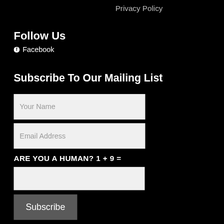Privacy Policy
Follow Us
Facebook
Subscribe To Our Mailing List
Your Name
Email Address
ARE YOU A HUMAN? 1 + 9 =
Subscribe